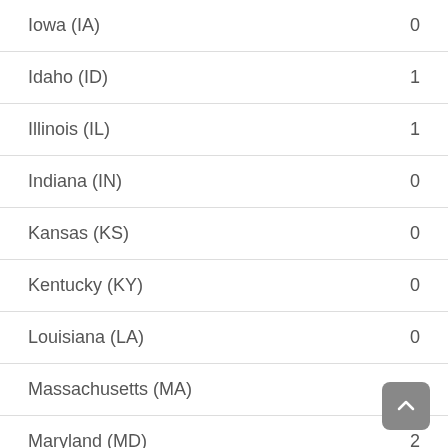| State | Count |
| --- | --- |
| Iowa (IA) | 0 |
| Idaho (ID) | 1 |
| Illinois (IL) | 1 |
| Indiana (IN) | 0 |
| Kansas (KS) | 0 |
| Kentucky (KY) | 0 |
| Louisiana (LA) | 0 |
| Massachusetts (MA) | 0 |
| Maryland (MD) | 2 |
| Maine (ME) | 0 |